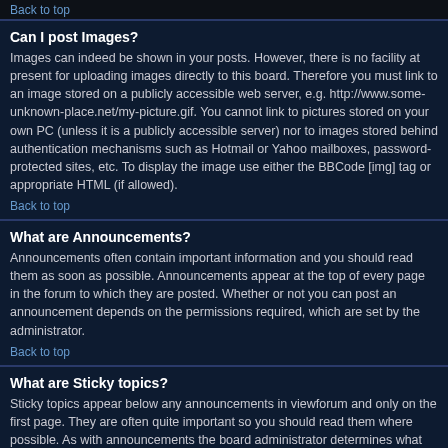Back to top
Can I post Images?
Images can indeed be shown in your posts. However, there is no facility at present for uploading images directly to this board. Therefore you must link to an image stored on a publicly accessible web server, e.g. http://www.some-unknown-place.net/my-picture.gif. You cannot link to pictures stored on your own PC (unless it is a publicly accessible server) nor to images stored behind authentication mechanisms such as Hotmail or Yahoo mailboxes, password-protected sites, etc. To display the image use either the BBCode [img] tag or appropriate HTML (if allowed).
Back to top
What are Announcements?
Announcements often contain important information and you should read them as soon as possible. Announcements appear at the top of every page in the forum to which they are posted. Whether or not you can post an announcement depends on the permissions required, which are set by the administrator.
Back to top
What are Sticky topics?
Sticky topics appear below any announcements in viewforum and only on the first page. They are often quite important so you should read them where possible. As with announcements the board administrator determines what permissions are required to post sticky topics in each forum.